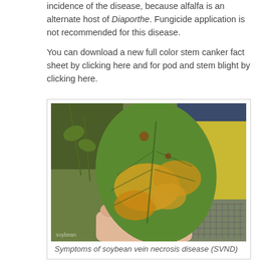incidence of the disease, because alfalfa is an alternate host of Diaporthe. Fungicide application is not recommended for this disease.
You can download a new full color stem canker fact sheet by clicking here and for pod and stem blight by clicking here.
[Figure (photo): A hand holding a soybean leaf showing symptoms of soybean vein necrosis disease — yellow-orange discolored patches along the veins on a green leaf background, with other plants visible in the background.]
Symptoms of soybean vein necrosis disease (SVND)
Soybean Vein Necrosis Disease (SVND)